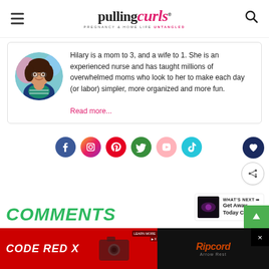pulling curls — PREGNANCY & HOME LIFE UNTANGLED
[Figure (photo): Circular author photo of a woman with curly hair wearing a denim jacket over a teal striped shirt, against a colorful background]
Hilary is a mom to 3, and a wife to 1. She is an experienced nurse and has taught millions of overwhelmed moms who look to her to make each day (or labor) simpler, more organized and more fun.
Read more...
[Figure (infographic): Row of social media icons: Facebook (dark blue), Instagram (gradient orange/purple), Pinterest (red), Twitter (green), YouTube (pink/light), TikTok (teal)]
COMMENTS
[Figure (infographic): Advertisement banner: CODE RED X on red background, Ripcord Arrow Rest product on dark background]